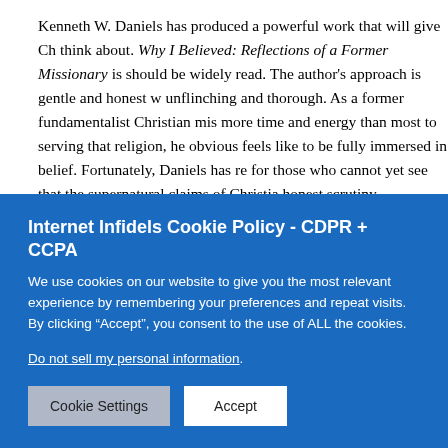Kenneth W. Daniels has produced a powerful work that will give Ch think about. Why I Believed: Reflections of a Former Missionary is should be widely read. The author's approach is gentle and honest w unflinching and thorough. As a former fundamentalist Christian mis more time and energy than most to serving that religion, he obvious feels like to be fully immersed in belief. Fortunately, Daniels has re for those who cannot yet see that the supernatural claims of Christia honest scrutiny.
This brilliant book is not a vicious attack on Christians. It is a stron to see and hear new ideas, to consider the possibility that their belie mistake. Daniels maintains a humble tone throughout the book. He with arrogant claims of intellectual superiority on the question of fa
Internet Infidels Cookie Policy - CDPR + CCPA
We use cookies on our website to give you the most relevant experience by remembering your preferences and repeat visits. By clicking “Accept”, you consent to the use of ALL the cookies.
Do not sell my personal information.